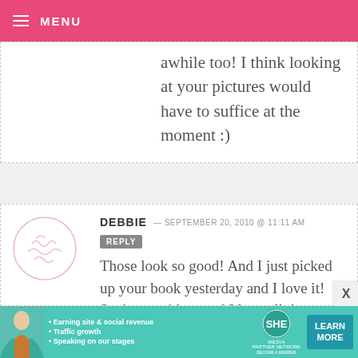MENU
awhile too! I think looking at your pictures would have to suffice at the moment :)
DEBBIE — SEPTEMBER 20, 2010 @ 11:11 AM  REPLY
Those look so good! And I just picked up your book yesterday and I love it! Such great ideas and I love all the step-by-step pictures. I'm very inspired to make some more cake balls!
[Figure (infographic): SHE Partner Network advertisement banner with photo of woman, bullet points: Earning site & social revenue, Traffic growth, Speaking on our stages, SHE logo, LEARN MORE button]